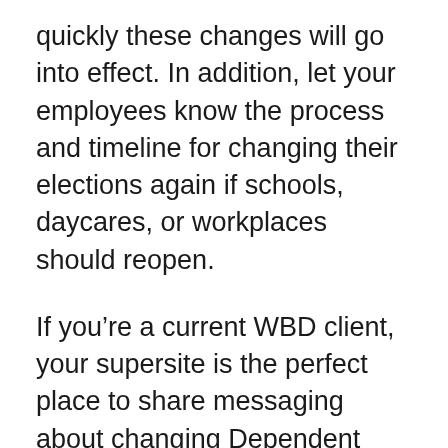quickly these changes will go into effect. In addition, let your employees know the process and timeline for changing their elections again if schools, daycares, or workplaces should reopen.
If you’re a current WBD client, your supersite is the perfect place to share messaging about changing Dependent Care FSAs during the COVID-19 pandemic. Not a client yet? Click here to view our custom, branded supersites, which take the confusion out of benefits enrollment and management for your employees.